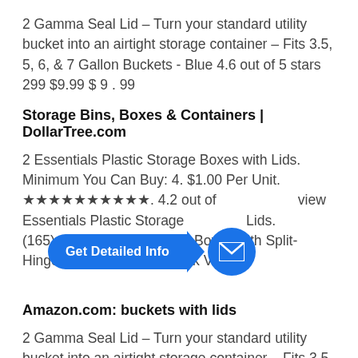2 Gamma Seal Lid – Turn your standard utility bucket into an airtight storage container – Fits 3.5, 5, 6, & 7 Gallon Buckets - Blue 4.6 out of 5 stars 299 $9.99 $ 9 . 99
Storage Bins, Boxes & Containers | DollarTree.com
2 Essentials Plastic Storage Boxes with Lids. Minimum You Can Buy: 4. $1.00 Per Unit. ★★★★★★★★★★. 4.2 out of ... view ... Essentials Plastic Storage ... Lids. (165) Clear Plastic Storage Boxes with Split-Hinged Lids, 9x6x4 in. Quick View.
[Figure (other): Blue pill-shaped button overlay reading 'Get Detailed Info' with a blue circle mail icon on the right]
Amazon.com: buckets with lids
2 Gamma Seal Lid – Turn your standard utility bucket into an airtight storage container – Fits 3.5, 5, 6, & 7 Gallon Buckets - Black 4.6 out of 5 stars